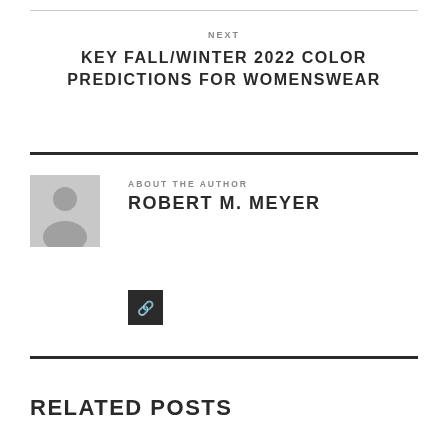NEXT
KEY FALL/WINTER 2022 COLOR PREDICTIONS FOR WOMENSWEAR
ABOUT THE AUTHOR
ROBERT M. MEYER
[Figure (other): Social media icon button (dark square with link icon)]
RELATED POSTS